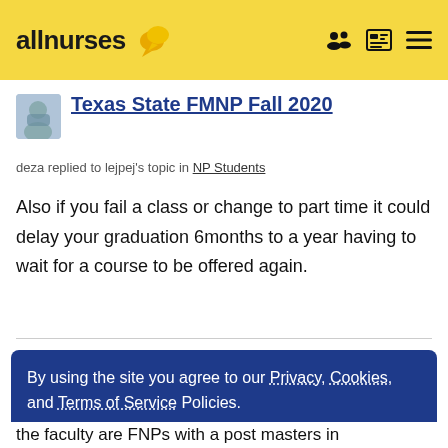allnurses
Texas State FMNP Fall 2020
deza replied to lejpej's topic in NP Students
Also if you fail a class or change to part time it could delay your graduation 6months to a year having to wait for a course to be offered again.
By using the site you agree to our Privacy, Cookies, and Terms of Service Policies.
OK
the faculty are FNPs with a post masters in